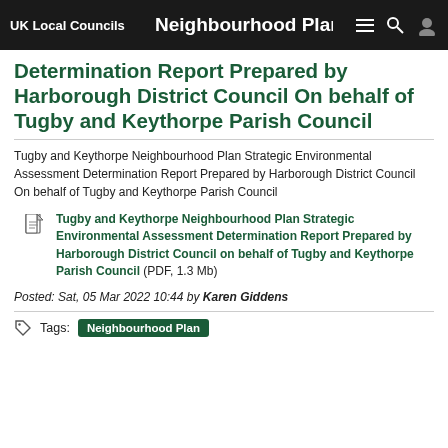UK Local Councils | Neighbourhood Plan Strategic Environmental Assessment…
Determination Report Prepared by Harborough District Council On behalf of Tugby and Keythorpe Parish Council
Tugby and Keythorpe Neighbourhood Plan Strategic Environmental Assessment Determination Report Prepared by Harborough District Council On behalf of Tugby and Keythorpe Parish Council
Tugby and Keythorpe Neighbourhood Plan Strategic Environmental Assessment Determination Report Prepared by Harborough District Council on behalf of Tugby and Keythorpe Parish Council (PDF, 1.3 Mb)
Posted: Sat, 05 Mar 2022 10:44 by Karen Giddens
Tags: Neighbourhood Plan